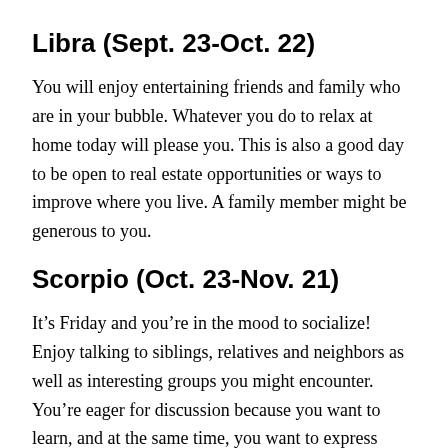Libra (Sept. 23-Oct. 22)
You will enjoy entertaining friends and family who are in your bubble. Whatever you do to relax at home today will please you. This is also a good day to be open to real estate opportunities or ways to improve where you live. A family member might be generous to you.
Scorpio (Oct. 23-Nov. 21)
It’s Friday and you’re in the mood to socialize! Enjoy talking to siblings, relatives and neighbors as well as interesting groups you might encounter. You’re eager for discussion because you want to learn, and at the same time, you want to express yourself because you’re full of ideas!